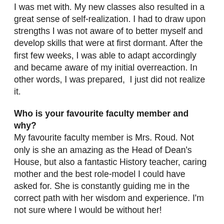I was met with. My new classes also resulted in a great sense of self-realization. I had to draw upon strengths I was not aware of to better myself and develop skills that were at first dormant. After the first few weeks, I was able to adapt accordingly and became aware of my initial overreaction. In other words, I was prepared,  I just did not realize it.
Who is your favourite faculty member and why?
My favourite faculty member is Mrs. Roud. Not only is she an amazing as the Head of Dean's House, but also a fantastic History teacher, caring mother and the best role-model I could have asked for. She is constantly guiding me in the correct path with her wisdom and experience. I'm not sure where I would be without her!
What has been your greatest challenge thus far at Ridley?
The greatest challenge that I have faced at Ridley has been balancing every aspect of my life in an organized manner. Being an active member of Ridley College results in one's schedule to